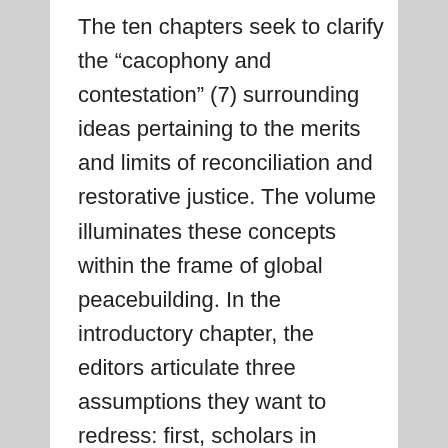The ten chapters seek to clarify the “cacophony and contestation” (7) surrounding ideas pertaining to the merits and limits of reconciliation and restorative justice. The volume illuminates these concepts within the frame of global peacebuilding. In the introductory chapter, the editors articulate three assumptions they want to redress: first, scholars in reconciliation studies and scholars in restorative justice studies engage with each other “remarkably little” (8); second, the two fields remain under-theorized and, hence, are in need of a “theory oriented to practice” (8); and, third